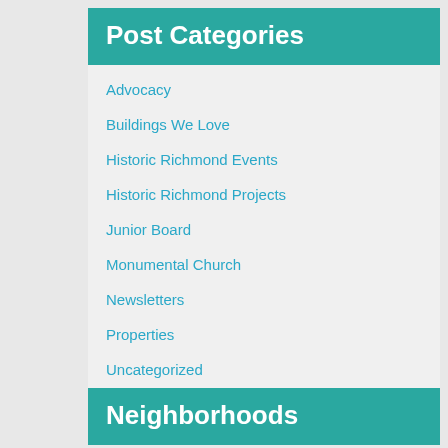Post Categories
Advocacy
Buildings We Love
Historic Richmond Events
Historic Richmond Projects
Junior Board
Monumental Church
Newsletters
Properties
Uncategorized
Videos, Guides and More
Neighborhoods